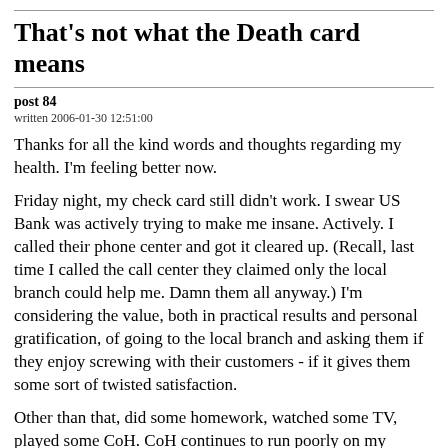That's not what the Death card means
post 84
written 2006-01-30 12:51:00
Thanks for all the kind words and thoughts regarding my health. I'm feeling better now.
Friday night, my check card still didn't work. I swear US Bank was actively trying to make me insane. Actively. I called their phone center and got it cleared up. (Recall, last time I called the call center they claimed only the local branch could help me. Damn them all anyway.) I'm considering the value, both in practical results and personal gratification, of going to the local branch and asking them if they enjoy screwing with their customers - if it gives them some sort of twisted satisfaction.
Other than that, did some homework, watched some TV, played some CoH. CoH continues to run poorly on my computer. Hope to have that problem addressed this week. I hate that the performance of a computer program can elicit such quick, direct action on my part, like a skilled marrionetteer. Or, a half-assed marrionetteer. Either way.